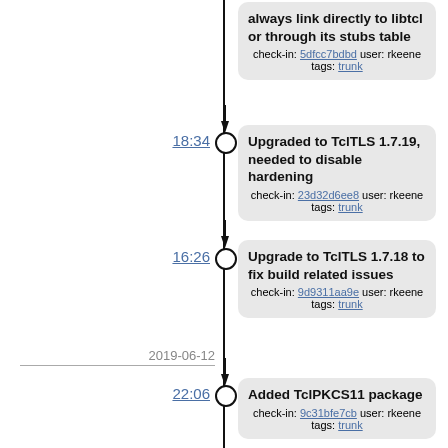[Figure (other): Software version control timeline showing commits with timestamps, check-in hashes, user rkeene, and tags trunk. Entries include: Upgraded to TclTLS 1.7.19, Upgrade to TclTLS 1.7.18, Added TclPKCS11 package, Better handling of shared linking and TCL_PACKAGE_PATH, Updated ignores to include NSF. Dates shown: 2019-06-12, 2019-05-01.]